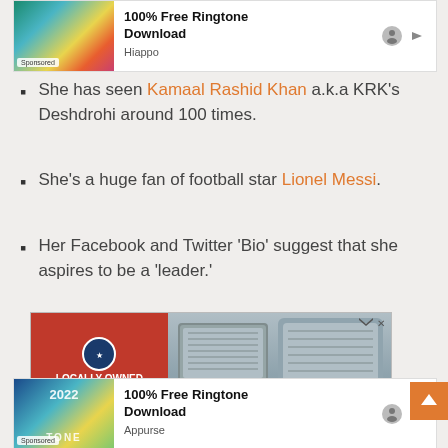[Figure (screenshot): Advertisement banner: '100% Free Ringtone Download' by Hiappo, with colorful image thumbnail and Sponsored label]
She has seen Kamaal Rashid Khan a.k.a KRK's Deshdrohi around 100 times.
She's a huge fan of football star Lionel Messi.
Her Facebook and Twitter 'Bio' suggest that she aspires to be a 'leader.'
[Figure (screenshot): Advertisement banner for HVAC/air conditioning company: LOCALLY OWNED AND OPERATED, 23 years of experience, with skip/close buttons]
[Figure (screenshot): Advertisement banner: '100% Free Ringtone Download' by Appurse, with colorful 2022 TONE image thumbnail and Sponsored label]